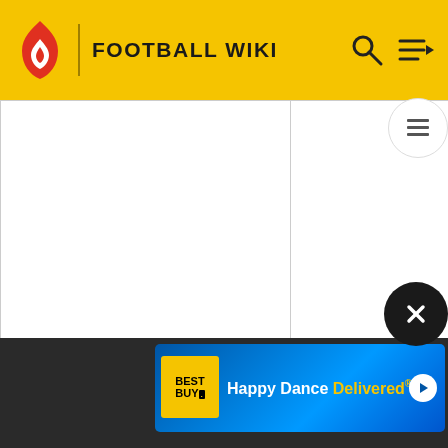FOOTBALL WIKI
|  |  |  | Expression error: Unrecognized punctuation character ",".Expression error: Unrecognized punctuation character ",".Expression error: Unrecognized punctuation character ",". |
| --- | --- | --- | --- |
|  |  |  |  |
[Figure (screenshot): Best Buy advertisement banner: 'Happy Dance Delivered']